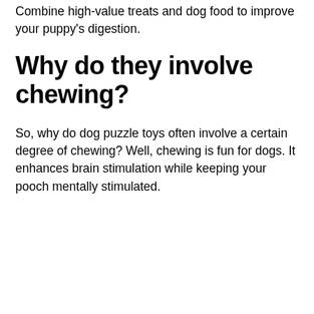Combine high-value treats and dog food to improve your puppy's digestion.
Why do they involve chewing?
So, why do dog puzzle toys often involve a certain degree of chewing? Well, chewing is fun for dogs. It enhances brain stimulation while keeping your pooch mentally stimulated.